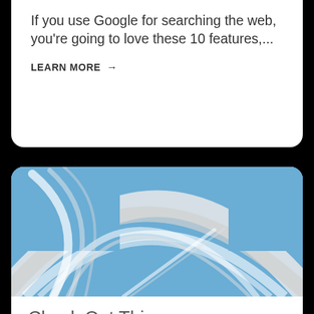If you use Google for searching the web, you're going to love these 10 features,...
LEARN MORE →
[Figure (logo): Torapath Technologies logo: blue and white swirling arc design on a blue rectangular background]
Check Out This #TorapathTechTip!
CATEGORY: Blog, In The Know, Tech Tips
Want to know how to quickly become a "pro" at